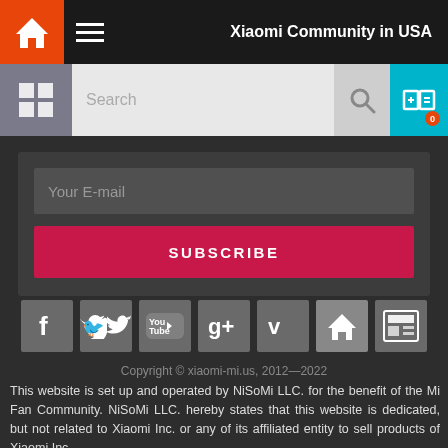Xiaomi Community in USA
[Figure (screenshot): Search bar with grid icon, search input, magnifier button, and compare button with badge 0]
[Figure (screenshot): Email subscription box with 'Your E-mail' input field and red SUBSCRIBE button]
[Figure (screenshot): Social media icons row: Facebook, Twitter, YouTube, Google+, Vimeo, Home, and a news/feed icon]
Copyright © xiaomi-mi.us, 2012—2022
This website is set up and operated by NiSoMi LLC. for the benefit of the Mi Fan Community. NiSoMi LLC. hereby states that this website is dedicated, but not related to Xiaomi Inc. or any of its affiliated entity to sell products of Xiaomi Inc.